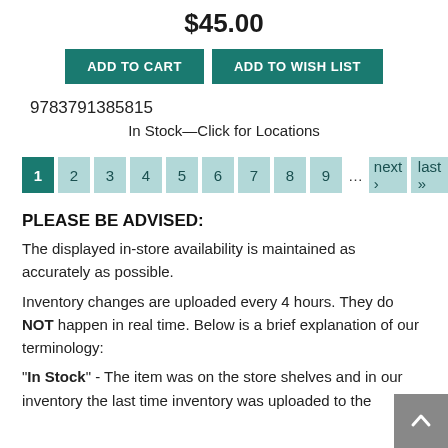$45.00
ADD TO CART | ADD TO WISH LIST
9783791385815
In Stock—Click for Locations
1 2 3 4 5 6 7 8 9 … next › last »
PLEASE BE ADVISED:
The displayed in-store availability is maintained as accurately as possible.
Inventory changes are uploaded every 4 hours. They do NOT happen in real time. Below is a brief explanation of our terminology:
"In Stock" - The item was on the store shelves and in our inventory the last time inventory was uploaded to the